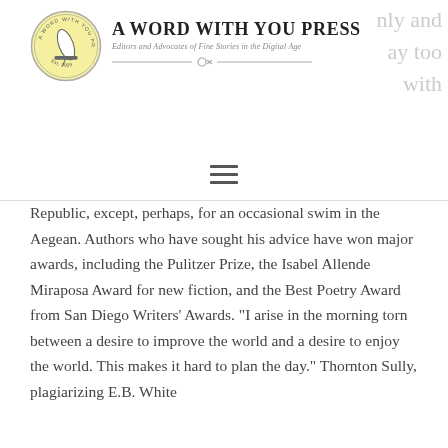A Word with You Press — Editors and Advocates of Fine Stories in the Digital Age
Republic, except, perhaps, for an occasional swim in the Aegean. Authors who have sought his advice have won major awards, including the Pulitzer Prize, the Isabel Allende Miraposa Award for new fiction, and the Best Poetry Award from San Diego Writers' Awards. "I arise in the morning torn between a desire to improve the world and a desire to enjoy the world. This makes it hard to plan the day." Thornton Sully, plagiarizing E.B. White